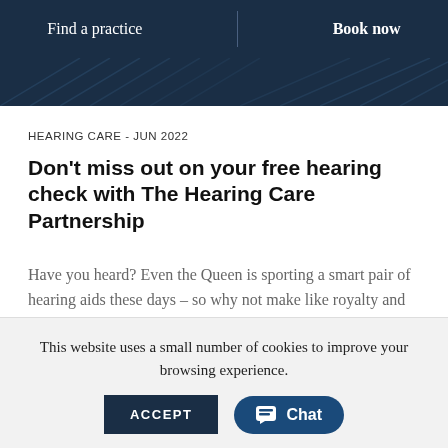Find a practice | Book now
HEARING CARE - JUN 2022
Don't miss out on your free hearing check with The Hearing Care Partnership
Have you heard? Even the Queen is sporting a smart pair of hearing aids these days – so why not make like royalty and get yourself a free hearing test. Because there's nothing more regal than looking after your health!
This website uses a small number of cookies to improve your browsing experience.